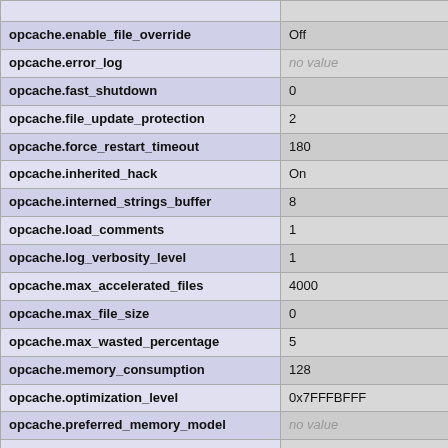| Directive | Value |
| --- | --- |
| opcache.enable_file_override | Off |
| opcache.error_log | no value |
| opcache.fast_shutdown | 0 |
| opcache.file_update_protection | 2 |
| opcache.force_restart_timeout | 180 |
| opcache.inherited_hack | On |
| opcache.interned_strings_buffer | 8 |
| opcache.load_comments | 1 |
| opcache.log_verbosity_level | 1 |
| opcache.max_accelerated_files | 4000 |
| opcache.max_file_size | 0 |
| opcache.max_wasted_percentage | 5 |
| opcache.memory_consumption | 128 |
| opcache.optimization_level | 0x7FFFBFFF |
| opcache.preferred_memory_model | no value |
| opcache.protect_memory | 0 |
| opcache.restrict_api | no value |
| opcache.revalidate_freq | 2 |
| opcache.revalidate_path | Off |